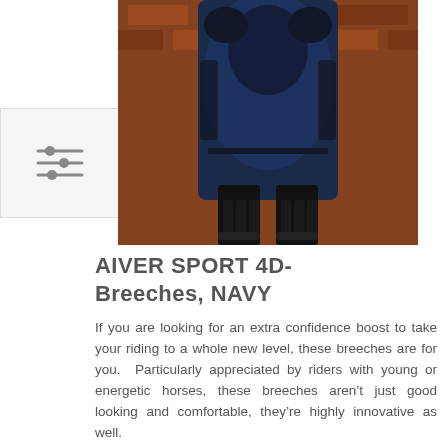[Figure (photo): Close-up photo of a person wearing navy blue equestrian breeches and black riding boots, standing against a brick wall background.]
AIVER SPORT 4D-Breeches, NAVY
If you are looking for an extra confidence boost to take your riding to a whole new level, these breeches are for you.  Particularly appreciated by riders with young or energetic horses, these breeches aren't just good looking and comfortable, they're highly innovative as well.
The gel patches give you the grip and support you need